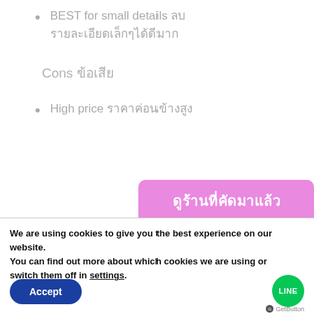BEST for small details ลบรายละเอียดเล็กๆได้ดีมาก
Cons ข้อเสีย
High price ราคาค่อนข้างสูง
[Figure (other): Pink button with Thai text ดูร้านที่คัดมาแล้ว]
We are using cookies to give you the best experience on our website.
You can find out more about which cookies we are using or switch them off in settings.
Accept
[Figure (logo): LINE green circle button]
GetButton